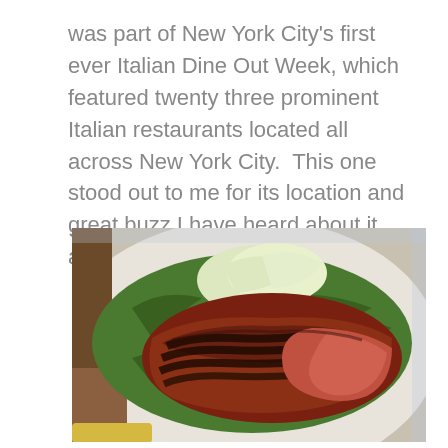was part of New York City's first ever Italian Dine Out Week, which featured twenty three prominent Italian restaurants located all across New York City.  This one stood out to me for its location and great buzz I have heard about it, and boy did it not disappoint.
[Figure (photo): A photo of a grilled meat dish (seared steak with grill marks) served on a white plate with arugula greens and sliced fresh pear/melon, photographed from above.]